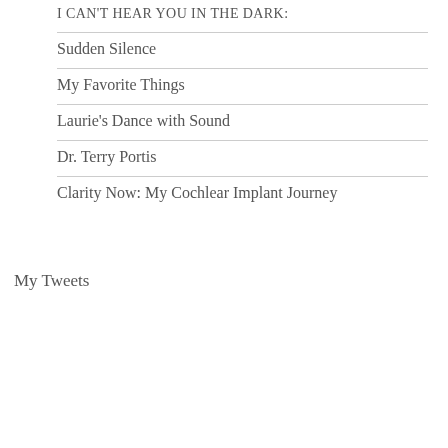I CAN'T HEAR YOU IN THE DARK:
Sudden Silence
My Favorite Things
Laurie's Dance with Sound
Dr. Terry Portis
Clarity Now: My Cochlear Implant Journey
My Tweets